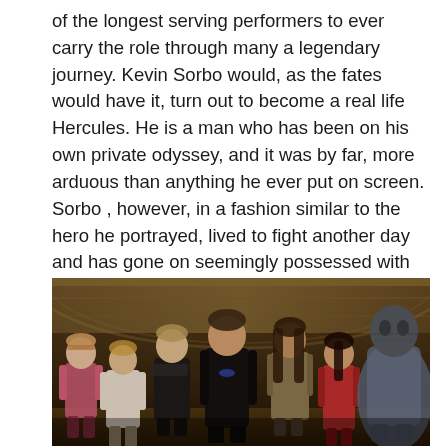of the longest serving performers to ever carry the role through many a legendary journey. Kevin Sorbo would, as the fates would have it, turn out to become a real life Hercules. He is a man who has been on his own private odyssey, and it was by far, more arduous than anything he ever put on screen. Sorbo , however, in a fashion similar to the hero he portrayed, lived to fight another day and has gone on seemingly possessed with God-like strength and determination and has become not only an endearing screen icon, but a prolific producer, writer and director.
[Figure (photo): A group of seven cast members in science fiction costumes standing together on what appears to be a spaceship set. The cast includes characters in various sci-fi outfits — a pink-clad woman on the far left, a young man in casual clothes, a woman in a black jacket with arms crossed, a tall man in the center in black (Kevin Sorbo), a man with long hair in a metallic top, a woman in a red outfit, and a large alien-like character on the far right in a cloak.]